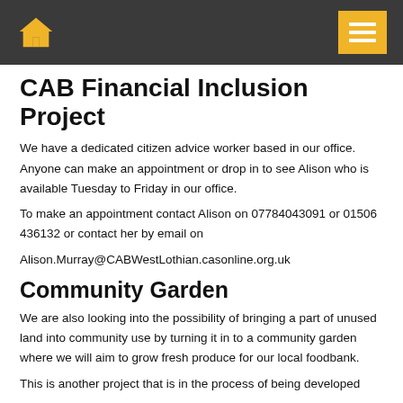Home | Menu
CAB Financial Inclusion Project
We have a dedicated citizen advice worker based in our office. Anyone can make an appointment or drop in to see Alison who is available Tuesday to Friday in our office. To make an appointment contact Alison on 07784043091 or 01506 436132 or contact her by email on Alison.Murray@CABWestLothian.casonline.org.uk
Community Garden
We are also looking into the possibility of bringing a part of unused land into community use by turning it in to a community garden where we will aim to grow fresh produce for our local foodbank. This is another project that is in the process of being developed